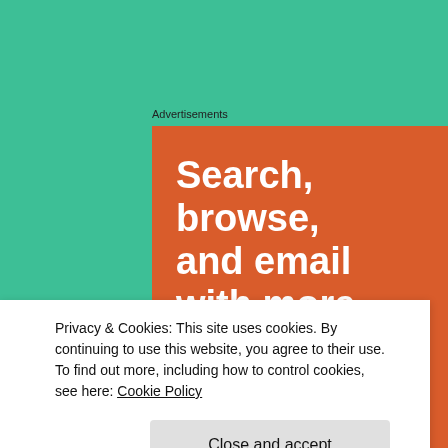Advertisements
[Figure (infographic): Orange advertisement box with large white bold text reading: Search, browse, and email with more privacy.]
Privacy & Cookies: This site uses cookies. By continuing to use this website, you agree to their use.
To find out more, including how to control cookies, see here: Cookie Policy
Close and accept